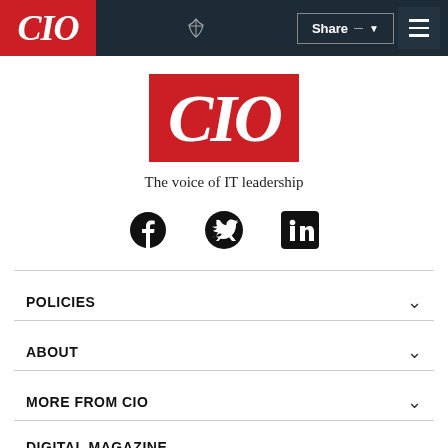CIO | Share | Menu
[Figure (logo): CIO magazine logo — white italic text on red background, centered on white page]
The voice of IT leadership
[Figure (infographic): Social media icons: Facebook, Twitter, LinkedIn]
POLICIES
ABOUT
MORE FROM CIO
DIGITAL MAGAZINE